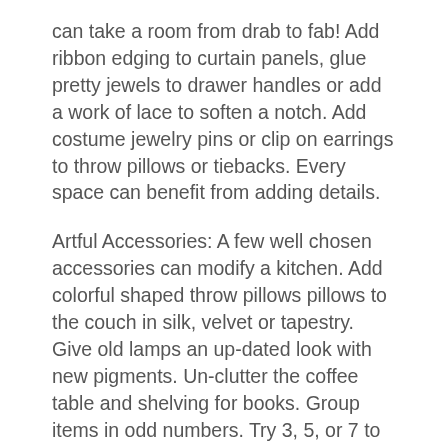can take a room from drab to fab! Add ribbon edging to curtain panels, glue pretty jewels to drawer handles or add a work of lace to soften a notch. Add costume jewelry pins or clip on earrings to throw pillows or tiebacks. Every space can benefit from adding details.
Artful Accessories: A few well chosen accessories can modify a kitchen. Add colorful shaped throw pillows pillows to the couch in silk, velvet or tapestry. Give old lamps an up-dated look with new pigments. Un-clutter the coffee table and shelving for books. Group items in odd numbers. Try 3, 5, or 7 to keep things worthwhile. Choose several large scale pieces for drama. Add canned “up” lights behind floor plants to create interesting wall shadows.
Home decorating ideas a great instant update and facelift in your kitchen is to change the drawer and cabinet pulls. Buy hardware any kind of number of one variety of styles and color choices and